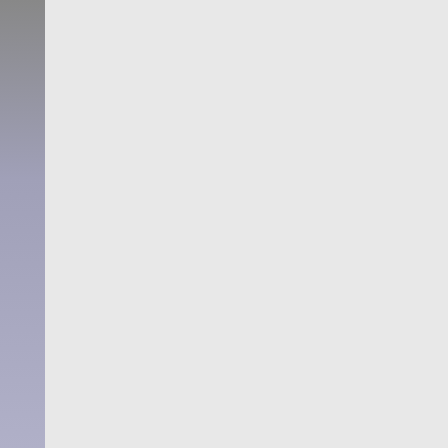Jacqueline Poirier
Jane Hoven Says:
May 19th, 2016 at 2:24 pm

Bonjour Ariane,

Just visited Giverny last Sunday and wonderful job you did! I live in Brusse
Ariane Says:
May 20th, 2016 at 4:37 pm

Dear Jane,
I'm so glad you like 'Giverny 365 Ph
Your kind words are a huge encourag
bubblers Says:
May 23rd, 2016 at 9:39 am

What a great looking book, thank you
Marjorie Says:
May 26th, 2016 at 4:02 pm

Hello Ariane, This is Marjorie. I'm ret